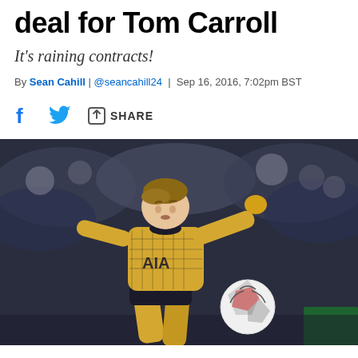deal for Tom Carroll
It's raining contracts!
By Sean Cahill | @seancahill24 | Sep 16, 2016, 7:02pm BST
[Figure (photo): A Tottenham Hotspur player wearing a yellow AIA kit strikes a football during a match. The player is captured mid-action, kicking the ball with their right foot. Crowd is blurred in the background.]